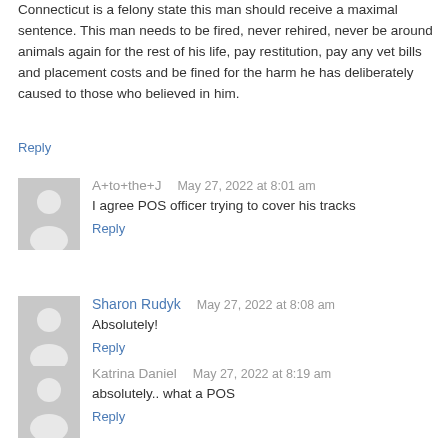Connecticut is a felony state this man should receive a maximal sentence. This man needs to be fired, never rehired, never be around animals again for the rest of his life, pay restitution, pay any vet bills and placement costs and be fined for the harm he has deliberately caused to those who believed in him.
Reply
A+to+the+J · May 27, 2022 at 8:01 am · I agree POS officer trying to cover his tracks · Reply
Sharon Rudyk · May 27, 2022 at 8:08 am · Absolutely! · Reply
Katrina Daniel · May 27, 2022 at 8:19 am · absolutely.. what a POS · Reply